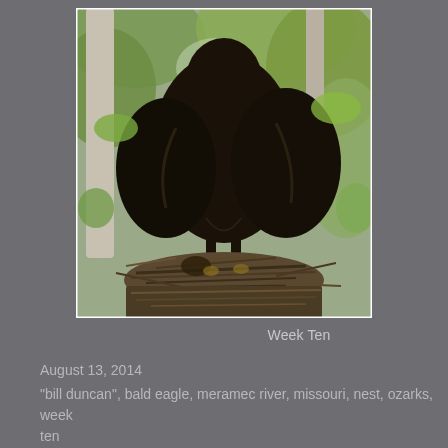[Figure (photo): A bald eagle juvenile perched in a nest made of sticks, high in a tree with green leaves visible in the background. The eagle is dark brown, facing away from camera, in a tree near the Meramec River, Missouri.]
Week Ten
August 13, 2014
"bill duncan", bald eagle, meramec river, missouri, nest, ozarks, week ten
Leave a comment
Bald Eagle Nest –